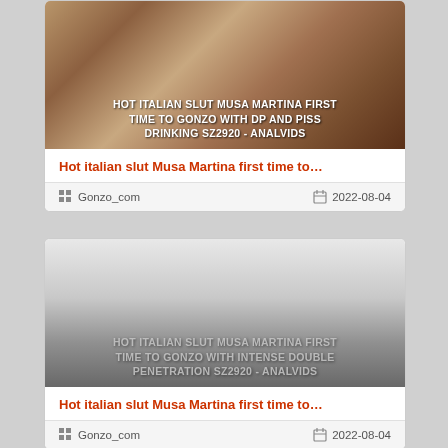[Figure (photo): Thumbnail image with overlay text: HOT ITALIAN SLUT MUSA MARTINA FIRST TIME TO GONZO WITH DP AND PISS DRINKING SZ2920 - ANALVIDS]
Hot italian slut Musa Martina first time to…
Gonzo_com
2022-08-04
[Figure (photo): Thumbnail image with overlay text: HOT ITALIAN SLUT MUSA MARTINA FIRST TIME TO GONZO WITH INTENSE DOUBLE PENETRATION SZ2920 - ANALVIDS]
Hot italian slut Musa Martina first time to…
Gonzo_com
2022-08-04